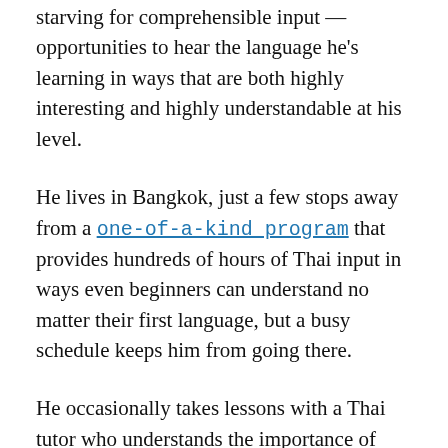starving for comprehensible input — opportunities to hear the language he's learning in ways that are both highly interesting and highly understandable at his level.
He lives in Bangkok, just a few stops away from a one-of-a-kind program that provides hundreds of hours of Thai input in ways even beginners can understand no matter their first language, but a busy schedule keeps him from going there.
He occasionally takes lessons with a Thai tutor who understands the importance of comprehensible input, but is also too busy to do much about it — booked solid with students